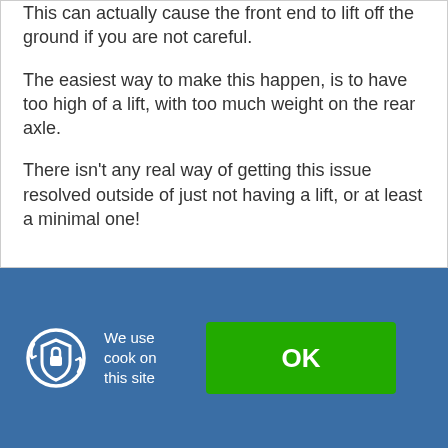This can actually cause the front end to lift off the ground if you are not careful.
The easiest way to make this happen, is to have too high of a lift, with too much weight on the rear axle.
There isn't any real way of getting this issue resolved outside of just not having a lift, or at least a minimal one!
[Figure (infographic): Blue cookie consent banner with a padlock/shield icon on the left, text 'We use cook on this site' in the center, and a green OK button on the right.]